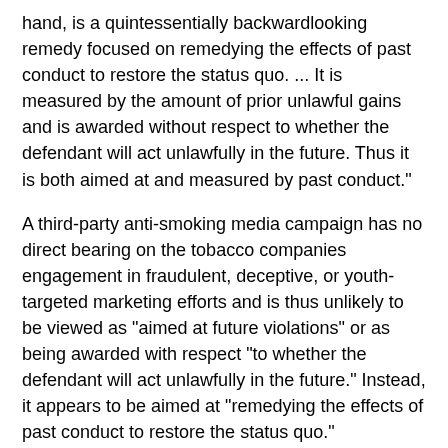hand, is a quintessentially backwardlooking remedy focused on remedying the effects of past conduct to restore the status quo. ... It is measured by the amount of prior unlawful gains and is awarded without respect to whether the defendant will act unlawfully in the future. Thus it is both aimed at and measured by past conduct."
A third-party anti-smoking media campaign has no direct bearing on the tobacco companies engagement in fraudulent, deceptive, or youth-targeted marketing efforts and is thus unlikely to be viewed as "aimed at future violations" or as being awarded with respect "to whether the defendant will act unlawfully in the future." Instead, it appears to be aimed at "remedying the effects of past conduct to restore the status quo."
For the same reasons, I do not think that forcing the companies to fund smoking cessation programs for smokers is consistent with section 1964(a), nor is it likely to be upheld by the Appeals Court. I do not see how funding a smoking cessation program has anything to do with changing tobacco company conduct with regard to the alleged RICO violations